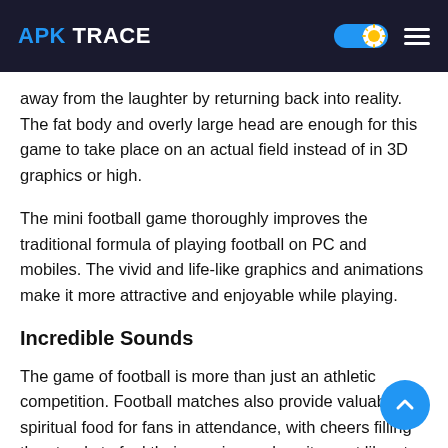APK TRACE
away from the laughter by returning back into reality. The fat body and overly large head are enough for this game to take place on an actual field instead of in 3D graphics or high.
The mini football game thoroughly improves the traditional formula of playing football on PC and mobiles. The vivid and life-like graphics and animations make it more attractive and enjoyable while playing.
Incredible Sounds
The game of football is more than just an athletic competition. Football matches also provide valuable spiritual food for fans in attendance, with cheers filling the stands to fuel their passion and excitement like at no other time during or after a match. Miniature versions offer players significant sound effects, as when they intercept the ball carrier's pass with another